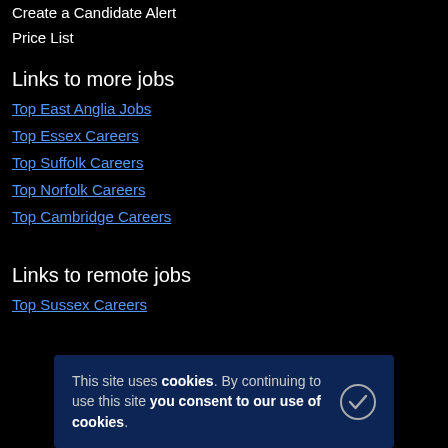Create a Candidate Alert
Price List
Links to more jobs
Top East Anglia Jobs
Top Essex Careers
Top Suffolk Careers
Top Norfolk Careers
Top Cambridge Careers
Links to remote jobs
Top Sussex Careers
This site uses cookies. By continuing to use this site you consent to our use of cookies.